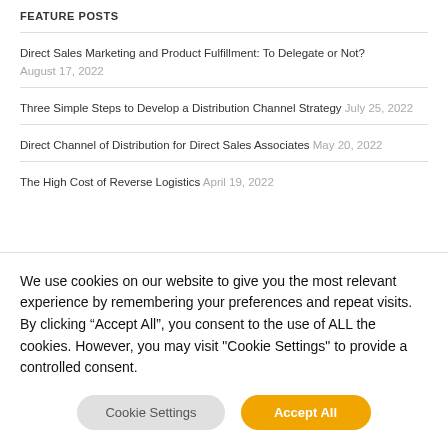FEATURE POSTS
Direct Sales Marketing and Product Fulfillment: To Delegate or Not? August 17, 2022
Three Simple Steps to Develop a Distribution Channel Strategy July 25, 2022
Direct Channel of Distribution for Direct Sales Associates May 20, 2022
The High Cost of Reverse Logistics April 19, 2022
We use cookies on our website to give you the most relevant experience by remembering your preferences and repeat visits. By clicking “Accept All”, you consent to the use of ALL the cookies. However, you may visit "Cookie Settings" to provide a controlled consent.